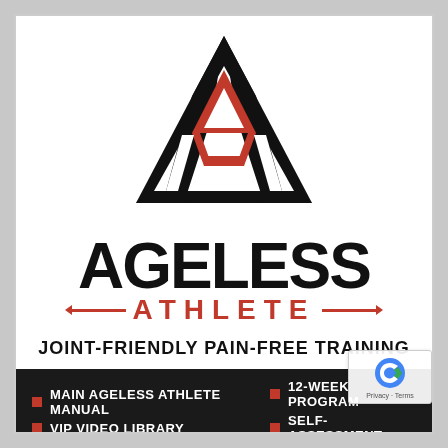[Figure (logo): Ageless Athlete logo: large black triangle/A shape with red inner A letter mark]
AGELESS
— ATHLETE —
JOINT-FRIENDLY PAIN-FREE TRAINING
MAIN AGELESS ATHLETE MANUAL
VIP VIDEO LIBRARY
12-WEEK PROGRAM
SELF-ASSESSMENT